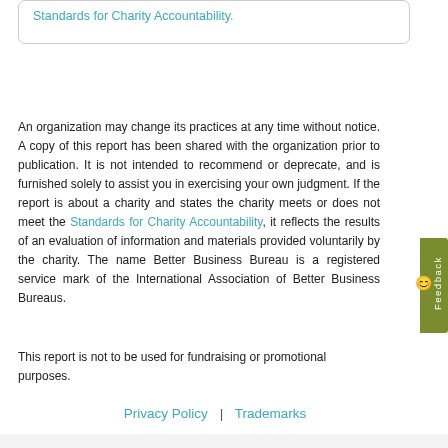Standards for Charity Accountability.
An organization may change its practices at any time without notice. A copy of this report has been shared with the organization prior to publication. It is not intended to recommend or deprecate, and is furnished solely to assist you in exercising your own judgment. If the report is about a charity and states the charity meets or does not meet the Standards for Charity Accountability, it reflects the results of an evaluation of information and materials provided voluntarily by the charity. The name Better Business Bureau is a registered service mark of the International Association of Better Business Bureaus.
This report is not to be used for fundraising or promotional purposes.
Privacy Policy | Trademarks
RELATED CONTENT
Meets Standards